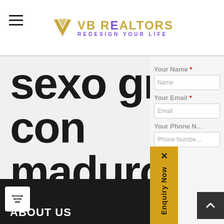VB REALTORS - REDESIGN YOUR LIFE
sexo gratis con maduro
Enquiry Now
Your Name *
Your Email *
Your Phone N...
Your Subject
ABOUT US